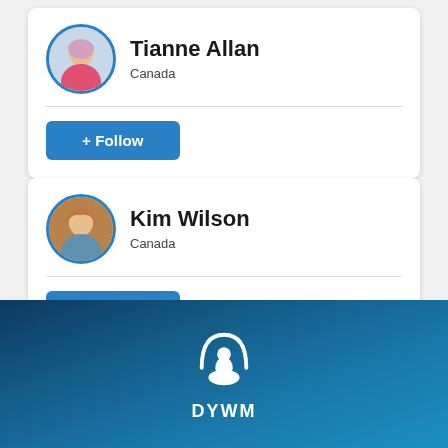[Figure (photo): Profile card for Tianne Allan from Canada with a circular avatar photo and a blue Follow button]
Tianne Allan
Canada
[Figure (photo): Profile card for Kim Wilson from Canada with a circular avatar photo and a blue Follow button]
Kim Wilson
Canada
[Figure (logo): Blue gradient background section with a white meditation figure logo and DYWM text at the bottom]